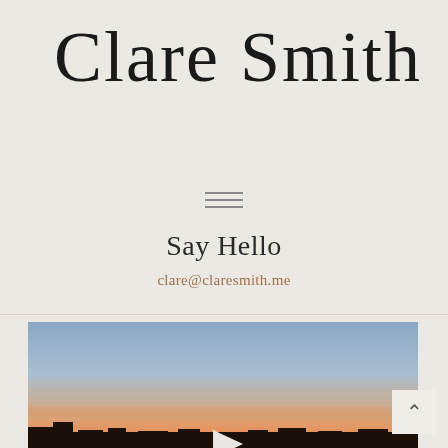Clare Smith
[Figure (other): Hamburger menu icon with three horizontal lines]
Say Hello
clare@claresmith.me
[Figure (photo): Sunset landscape photograph showing a gradient sky from blue at top to warm orange and yellow near the horizon, with silhouetted trees or skyline at the bottom. A play button triangle is visible at the bottom center.]